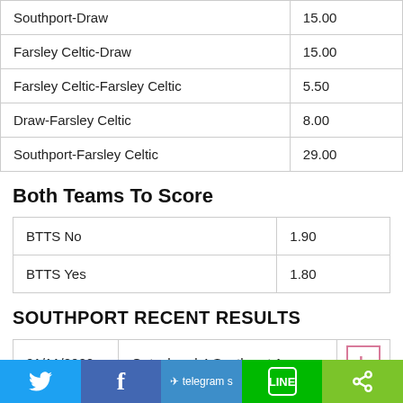|  |  |
| --- | --- |
| Southport-Draw | 15.00 |
| Farsley Celtic-Draw | 15.00 |
| Farsley Celtic-Farsley Celtic | 5.50 |
| Draw-Farsley Celtic | 8.00 |
| Southport-Farsley Celtic | 29.00 |
Both Teams To Score
|  |  |
| --- | --- |
| BTTS No | 1.90 |
| BTTS Yes | 1.80 |
SOUTHPORT RECENT RESULTS
| Date | Match | Result |
| --- | --- | --- |
| 21/11/2020 | Gateshead 4 Southport 1 | L |